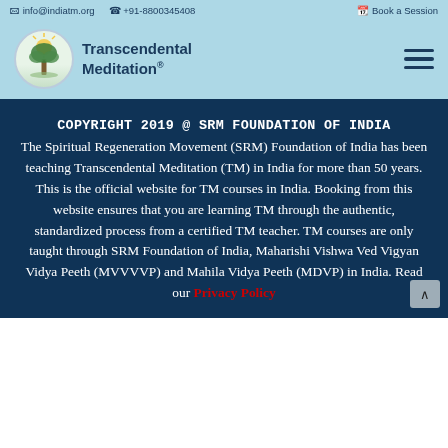info@indiatm.org   +91-8800345408   Book a Session
[Figure (logo): Transcendental Meditation logo with tree emblem and text 'Transcendental Meditation®']
COPYRIGHT 2019 @ SRM FOUNDATION OF INDIA The Spiritual Regeneration Movement (SRM) Foundation of India has been teaching Transcendental Meditation (TM) in India for more than 50 years. This is the official website for TM courses in India. Booking from this website ensures that you are learning TM through the authentic, standardized process from a certified TM teacher. TM courses are only taught through SRM Foundation of India, Maharishi Vishwa Ved Vigyan Vidya Peeth (MVVVVP) and Mahila Vidya Peeth (MDVP) in India. Read our Privacy Policy